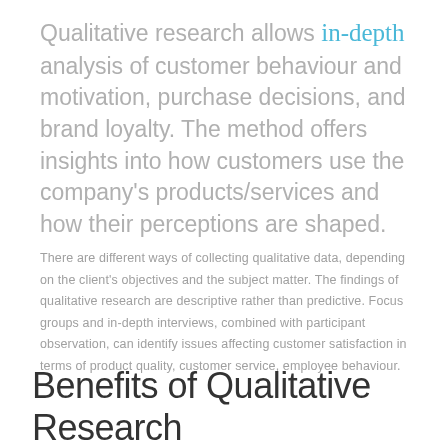Qualitative research allows in-depth analysis of customer behaviour and motivation, purchase decisions, and brand loyalty. The method offers insights into how customers use the company's products/services and how their perceptions are shaped.
There are different ways of collecting qualitative data, depending on the client's objectives and the subject matter. The findings of qualitative research are descriptive rather than predictive. Focus groups and in-depth interviews, combined with participant observation, can identify issues affecting customer satisfaction in terms of product quality, customer service, employee behaviour.
Benefits of Qualitative Research